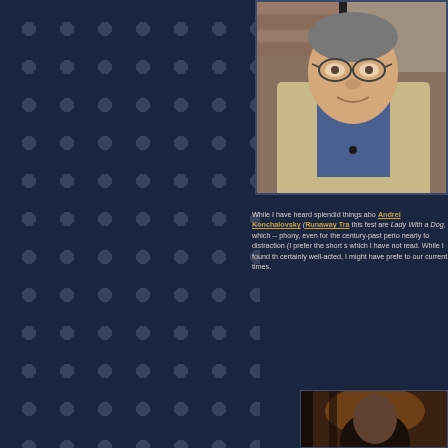[Figure (photo): Headshot of an older man with glasses wearing a beige jacket and dark shirt, outdoors with brick wall in background]
While I have heard splendid things about Andrei Konchalovsky (Runaway Tra... this fest are Lady With a Dog, which -- phony, even for the century-past period nearly to distraction (I prefer the short s which I have not read. While I found th certainly well-acted, I might have prefe to our current times.
[Figure (photo): Partial view of a second photo showing a person, darker tones, appears to be indoors]